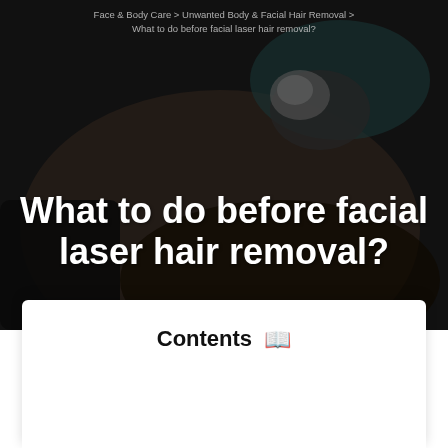Face & Body Care > Unwanted Body & Facial Hair Removal > What to do before facial laser hair removal?
What to do before facial laser hair removal?
Author Nutritionless / 03/04/2022 12:41 PM / 03/04/2022 12:41 PM
Contents 📖
What should you do to get ready for laser hair removal on you...